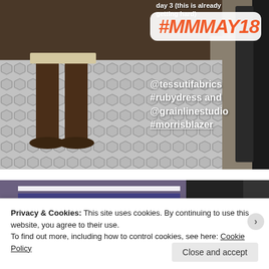[Figure (photo): Instagram story screenshot showing lower legs and feet standing on hexagonal tile floor with text overlays including #MMMAY18 hashtag badge and outfit tags]
day 3 (this is already getting hard)
#MMMAY18
@tessutifabrics #rubydress and @grainlinestudio #morrisblazer
[Figure (photo): Partial photo showing striped shirt and purple/dark background]
Privacy & Cookies: This site uses cookies. By continuing to use this website, you agree to their use.
To find out more, including how to control cookies, see here: Cookie Policy
Close and accept